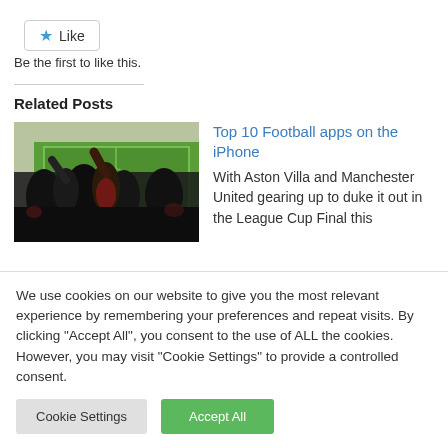[Figure (other): Like button with star icon]
Be the first to like this.
Related Posts
[Figure (photo): Football stadium crowd with fans raising hands, green pitch visible]
Top 10 Football apps on the iPhone
With Aston Villa and Manchester United gearing up to duke it out in the League Cup Final this
We use cookies on our website to give you the most relevant experience by remembering your preferences and repeat visits. By clicking "Accept All", you consent to the use of ALL the cookies. However, you may visit "Cookie Settings" to provide a controlled consent.